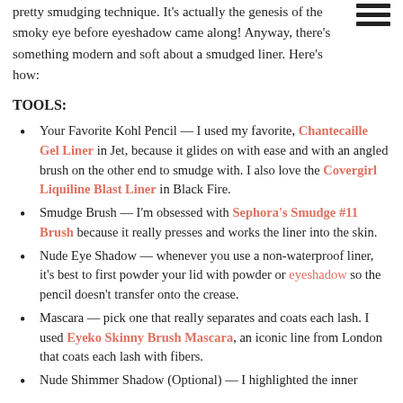pretty smudging technique. It's actually the genesis of the smoky eye before eyeshadow came along! Anyway, there's something modern and soft about a smudged liner. Here's how:
TOOLS:
Your Favorite Kohl Pencil — I used my favorite, Chantecaille Gel Liner in Jet, because it glides on with ease and with an angled brush on the other end to smudge with. I also love the Covergirl Liquiline Blast Liner in Black Fire.
Smudge Brush — I'm obsessed with Sephora's Smudge #11 Brush because it really presses and works the liner into the skin.
Nude Eye Shadow — whenever you use a non-waterproof liner, it's best to first powder your lid with powder or eyeshadow so the pencil doesn't transfer onto the crease.
Mascara — pick one that really separates and coats each lash. I used Eyeko Skinny Brush Mascara, an iconic line from London that coats each lash with fibers.
Nude Shimmer Shadow (Optional) — I highlighted the inner